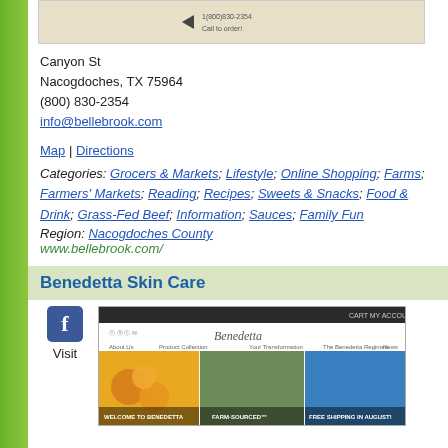[Figure (screenshot): Top banner advertisement with phone number and call to order text]
Canyon St
Nacogdoches, TX 75964
(800) 830-2354
info@bellebrook.com
Map | Directions
Categories: Grocers & Markets; Lifestyle; Online Shopping; Farms; Farmers' Markets; Reading; Recipes; Sweets & Snacks; Food & Drink; Grass-Fed Beef; Information; Sauces; Family Fun
Region: Nacogdoches County
www.bellebrook.com/
Benedetta Skin Care
[Figure (screenshot): Benedetta Skin Care website screenshot showing navigation bar, logo, and three image panels: Welcome to Benedetta, Farm-Sourced, Free Shipping in August!]